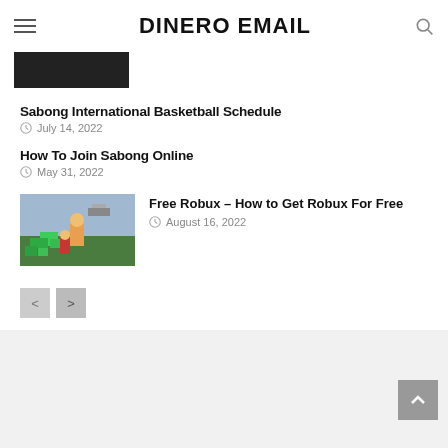DINERO EMAIL
[Figure (illustration): Dark banner thumbnail image placeholder]
Sabong International Basketball Schedule
July 14, 2022
How To Join Sabong Online
May 31, 2022
[Figure (photo): Roblox game screenshot showing characters with green blocks]
Free Robux – How to Get Robux For Free
August 16, 2022